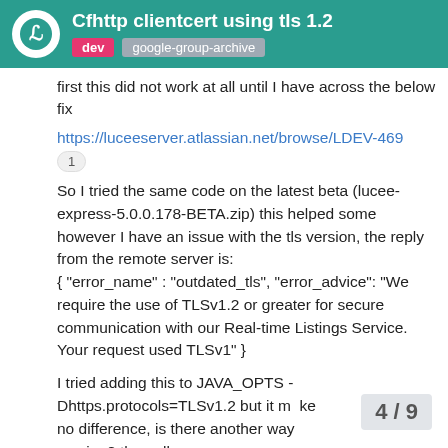Cfhttp clientcert using tls 1.2
first this did not work at all until I have across the below fix
https://luceeserver.atlassian.net/browse/LDEV-469
So I tried the same code on the latest beta (lucee-express-5.0.0.178-BETA.zip) this helped some however I have an issue with the tls version, the reply from the remote server is:
{ "error_name" : "outdated_tls", "error_advice": "We require the use of TLSv1.2 or greater for secure communication with our Real-time Listings Service. Your request used TLSv1" }
I tried adding this to JAVA_OPTS -Dhttps.protocols=TLSv1.2 but it made no difference, is there another way version? the pull
4 / 9